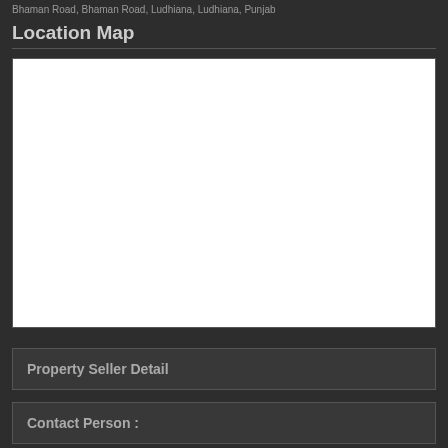Bhaman Road, Bhaman Road, Ludhiana, Ludhiana, Punjab
Location Map
[Figure (map): A blank white map embed area with dark border, representing a location map for Bhaman Road, Ludhiana, Punjab]
Property Seller Detail
Contact Person :